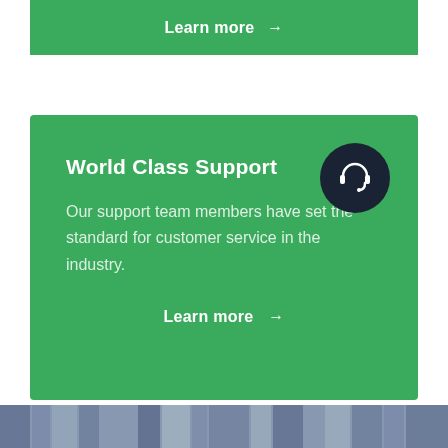Learn more →
World Class Support
Our support team members have set the standard for customer service in the industry.
Learn more →
[Figure (photo): Bottom photo strip showing partial view of people or crowd in blue/grey tones]